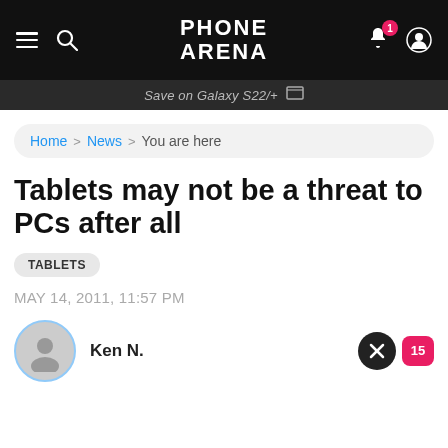PHONE ARENA
Save on Galaxy S22/+
Home > News > You are here
Tablets may not be a threat to PCs after all
TABLETS
MAY 14, 2011, 11:57 PM
Ken N.